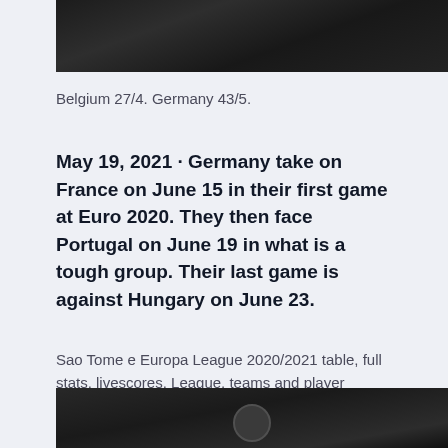[Figure (photo): Dark photograph cropped at top, showing dark background, partially visible]
Belgium 27/4. Germany 43/5.
May 19, 2021 · Germany take on France on June 15 in their first game at Euro 2020. They then face Portugal on June 19 in what is a tough group. Their last game is against Hungary on June 23.
Sao Tome e Europa League 2020/2021 table, full stats, livescores. League, teams and player statistics.
[Figure (photo): Dark photograph cropped at bottom of page, partially visible]